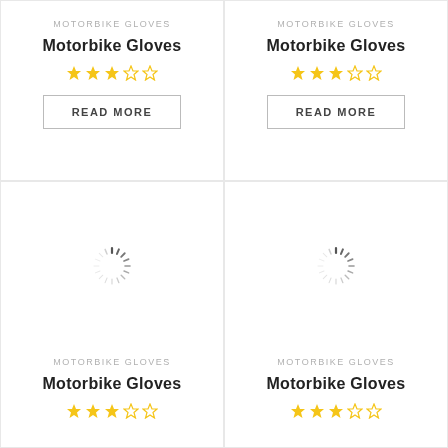MOTORBIKE GLOVES
Motorbike Gloves
[Figure (other): 3 filled stars, 2 empty stars rating]
READ MORE
MOTORBIKE GLOVES
Motorbike Gloves
[Figure (other): 3 filled stars, 2 empty stars rating]
READ MORE
[Figure (other): Circular loading spinner animation]
[Figure (other): Circular loading spinner animation]
MOTORBIKE GLOVES
Motorbike Gloves
[Figure (other): 3 filled stars, 2 empty stars rating]
MOTORBIKE GLOVES
Motorbike Gloves
[Figure (other): 3 filled stars, 2 empty stars rating]